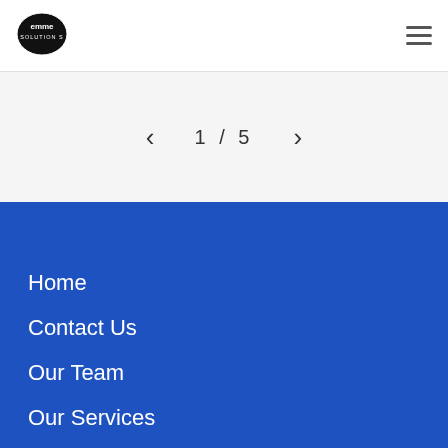emme solutions logo and hamburger menu
1 / 5
Home
Contact Us
Our Team
Our Services